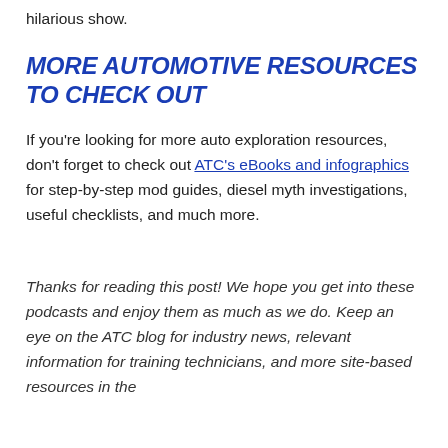hilarious show.
MORE AUTOMOTIVE RESOURCES TO CHECK OUT
If you're looking for more auto exploration resources, don't forget to check out ATC's eBooks and infographics for step-by-step mod guides, diesel myth investigations, useful checklists, and much more.
Thanks for reading this post! We hope you get into these podcasts and enjoy them as much as we do. Keep an eye on the ATC blog for industry news, relevant information for training technicians, and more site-based resources in the